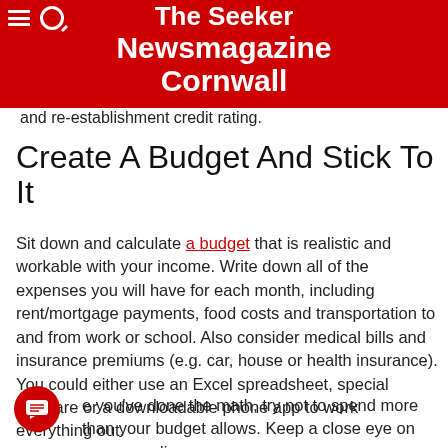The Seeker Newsmagazine Cornwall
and re-establishment credit rating.
Create A Budget And Stick To It
Sit down and calculate a budget that is realistic and workable with your income. Write down all of the expenses you will have for each month, including rent/mortgage payments, food costs and transportation to and from work or school. Also consider medical bills and insurance premiums (e.g. car, house or health insurance). You could either use an Excel spreadsheet, special software or a downloadable phone app to work everything out.
e you've done the math, try not to spend more than your budget allows. Keep a close eye on your spending